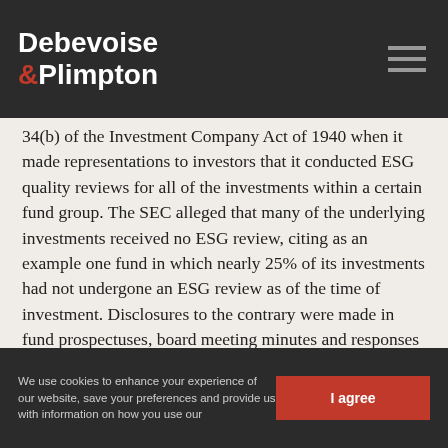Debevoise & Plimpton
34(b) of the Investment Company Act of 1940 when it made representations to investors that it conducted ESG quality reviews for all of the investments within a certain fund group. The SEC alleged that many of the underlying investments received no ESG review, citing as an example one fund in which nearly 25% of its investments had not undergone an ESG review as of the time of investment. Disclosures to the contrary were made in fund prospectuses, board meeting minutes and responses to other firms looking to invest in the fund.
The SEC also cited BNYMIA compliance personnel for failing to adopt reasonable policies and procedures to prevent the alleged inaccurate statements.
We use cookies to enhance your experience of our website, save your preferences and provide us with information on how you use our